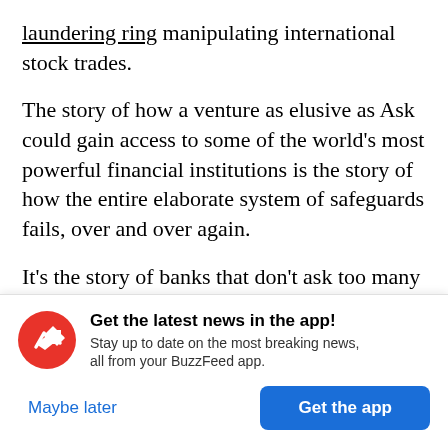laundering ring manipulating international stock trades.
The story of how a venture as elusive as Ask could gain access to some of the world's most powerful financial institutions is the story of how the entire elaborate system of safeguards fails, over and over again.
It's the story of banks that don't ask too many
[Figure (other): BuzzFeed app notification overlay with red circular BuzzFeed logo (white arrow icon), headline 'Get the latest news in the app!', subtext 'Stay up to date on the most breaking news, all from your BuzzFeed app.', a 'Maybe later' text link and a blue 'Get the app' button.]